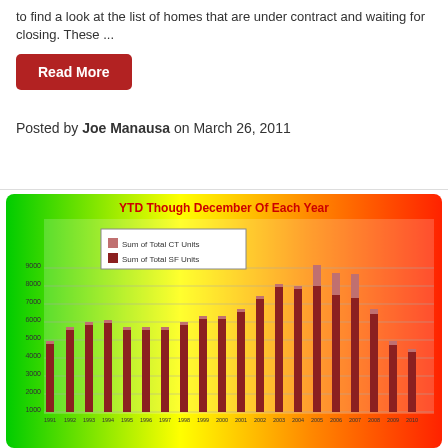to find a look at the list of homes that are under contract and waiting for closing. These ...
Read More
Posted by Joe Manausa on March 26, 2011
[Figure (bar-chart): YTD Though December Of Each Year]